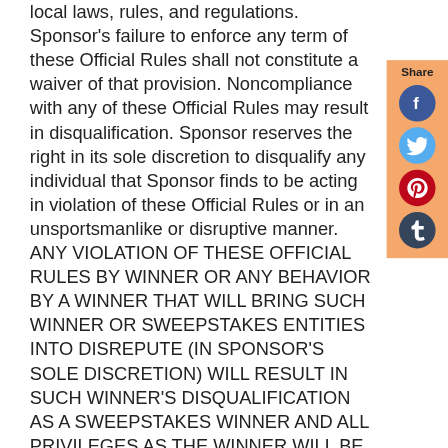local laws, rules, and regulations. Sponsor's failure to enforce any term of these Official Rules shall not constitute a waiver of that provision. Noncompliance with any of these Official Rules may result in disqualification. Sponsor reserves the right in its sole discretion to disqualify any individual that Sponsor finds to be acting in violation of these Official Rules or in an unsportsmanlike or disruptive manner. ANY VIOLATION OF THESE OFFICIAL RULES BY WINNER OR ANY BEHAVIOR BY A WINNER THAT WILL BRING SUCH WINNER OR SWEEPSTAKES ENTITIES INTO DISREPUTE (IN SPONSOR'S SOLE DISCRETION) WILL RESULT IN SUCH WINNER'S DISQUALIFICATION AS A SWEEPSTAKES WINNER AND ALL PRIVILEGES AS THE WINNER WILL BE